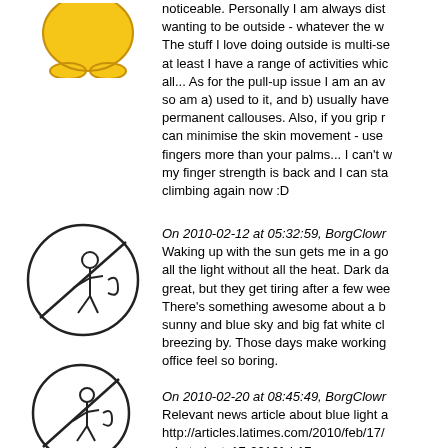[Figure (illustration): Yellow cartoon character avatar (bottom portion visible, golden yellow color)]
noticeable. Personally I am always dist wanting to be outside - whatever the w The stuff I love doing outside is multi-s at least I have a range of activities whi all... As for the pull-up issue I am an av so am a) used to it, and b) usually have permanent callouses. Also, if you grip r can minimise the skin movement - use fingers more than your palms... I can't my finger strength is back and I can sta climbing again now :D
[Figure (illustration): Circle avatar with no symbol (crossed out circle) containing a stick figure person]
On 2010-02-12 at 05:32:59, BorgClown Waking up with the sun gets me in a go all the light without all the heat. Dark da great, but they get tiring after a few wee There's something awesome about a b sunny and blue sky and big fat white cl breezing by. Those days make working office feel so boring.
[Figure (illustration): Circle avatar with no symbol (crossed out circle) containing a stick figure person]
On 2010-02-20 at 08:45:49, BorgClown Relevant news article about blue light a http://articles.latimes.com/2010/feb/17/ sci-students17-2010feb17